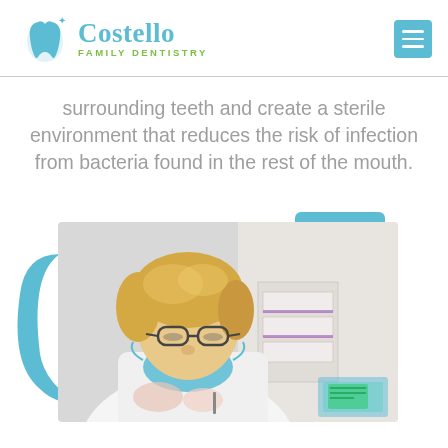Costello Family Dentistry
surrounding teeth and create a sterile environment that reduces the risk of infection from bacteria found in the rest of the mouth.
[Figure (photo): A female dentist wearing a white coat and blue surgical mask, leaning forward and working on a patient in a dental office setting.]